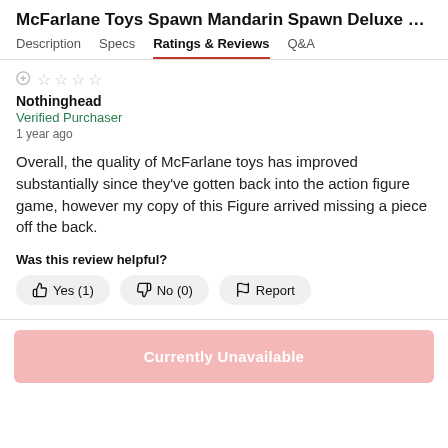McFarlane Toys Spawn Mandarin Spawn Deluxe Gar
Description  Specs  Ratings & Reviews  Q&A
Nothinghead
Verified Purchaser
1 year ago
Overall, the quality of McFarlane toys has improved substantially since they've gotten back into the action figure game, however my copy of this Figure arrived missing a piece off the back.
Was this review helpful?
Yes (1)  No (0)  Report
Currently Unavailable